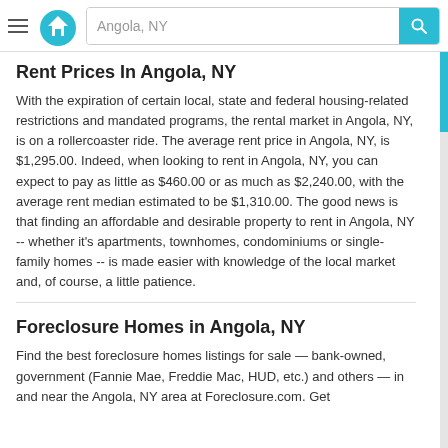Angola, NY
Rent Prices In Angola, NY
With the expiration of certain local, state and federal housing-related restrictions and mandated programs, the rental market in Angola, NY, is on a rollercoaster ride. The average rent price in Angola, NY, is $1,295.00. Indeed, when looking to rent in Angola, NY, you can expect to pay as little as $460.00 or as much as $2,240.00, with the average rent median estimated to be $1,310.00. The good news is that finding an affordable and desirable property to rent in Angola, NY -- whether it's apartments, townhomes, condominiums or single-family homes -- is made easier with knowledge of the local market and, of course, a little patience.
Foreclosure Homes in Angola, NY
Find the best foreclosure homes listings for sale — bank-owned, government (Fannie Mae, Freddie Mac, HUD, etc.) and others — in and near the Angola, NY area at Foreclosure.com. Get